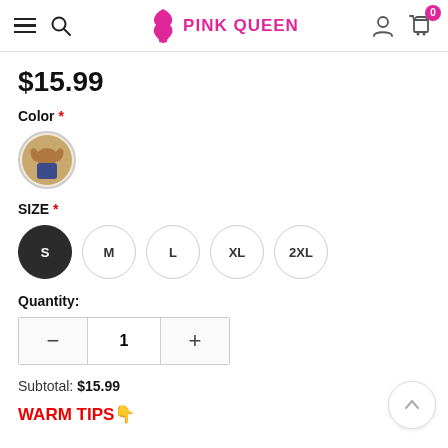PINK QUEEN — navigation header with hamburger, search, logo, account, cart (0)
$15.99
Color *
[Figure (photo): Circular color swatch thumbnail showing a tan/brown clothing item]
SIZE *
S  M  L  XL  2XL — size selector circles, S selected (dark)
Quantity:
— 1 + quantity control
Subtotal: $15.99
WARM TIPS🔽